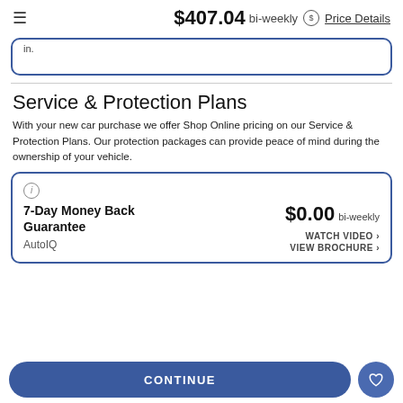$407.04 bi-weekly Price Details
in.
Service & Protection Plans
With your new car purchase we offer Shop Online pricing on our Service & Protection Plans. Our protection packages can provide peace of mind during the ownership of your vehicle.
7-Day Money Back Guarantee
AutoIQ
$0.00 bi-weekly
WATCH VIDEO ›
VIEW BROCHURE ›
CONTINUE